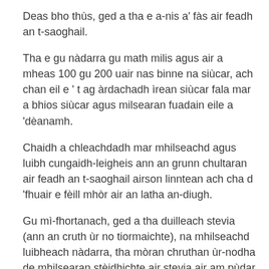Deas bho thùs, ged a tha e a-nis a' fàs air feadh an t-saoghail.
Tha e gu nàdarra gu math milis agus air a mheas 100 gu 200 uair nas binne na siùcar, ach chan eil e 't ag àrdachadh ìrean siùcar fala mar a bhios siùcar agus milsearan fuadain eile a 'dèanamh.
Chaidh a chleachdadh mar mhilseachd agus luibh cungaidh-leigheis ann an grunn chultaran air feadh an t-saoghail airson linntean ach cha d 'fhuair e fèill mhòr air an latha an-diugh.
Gu mì-fhortanach, ged a tha duilleach stevia (ann an cruth ùr no tiormaichte), na mhilseachd luibheach nàdarra, tha mòran chruthan ùr-nodha de mhilsearan stèidhichte air stevia air am pùdar agus air an giullachd. Gu dearbh, bidh milsearan stevia pùdarrach mòr-chòrdte a 'dol tro dhusanan de cheumannan aig àm giollachd bho sèididh gu atharrachadh ceimigeach.